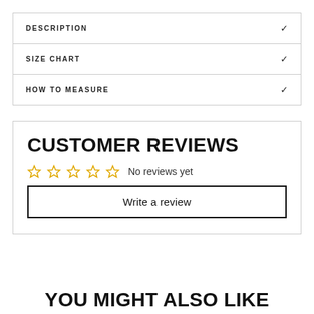DESCRIPTION
SIZE CHART
HOW TO MEASURE
CUSTOMER REVIEWS
No reviews yet
Write a review
YOU MIGHT ALSO LIKE